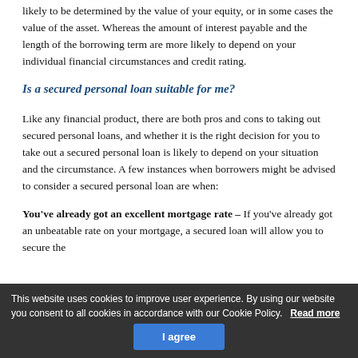likely to be determined by the value of your equity, or in some cases the value of the asset. Whereas the amount of interest payable and the length of the borrowing term are more likely to depend on your individual financial circumstances and credit rating.
Is a secured personal loan suitable for me?
Like any financial product, there are both pros and cons to taking out secured personal loans, and whether it is the right decision for you to take out a secured personal loan is likely to depend on your situation and the circumstance. A few instances when borrowers might be advised to consider a secured personal loan are when:
You've already got an excellent mortgage rate – If you've already got an unbeatable rate on your mortgage, a secured loan will allow you to secure the
This website uses cookies to improve user experience. By using our website you consent to all cookies in accordance with our Cookie Policy.  Read more